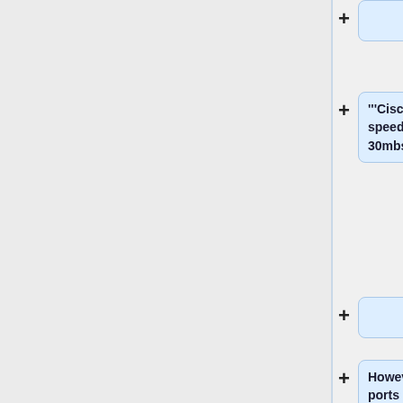(empty card)
"""Cisco 867 will allow speeds greater than 30mbs"""
(empty card)
However the fe lan ports will only allow a max speed of around 90mbs, the Gi0 port needs to be used for faster speeds but the network or pc connected must be able to support speeds of greater than